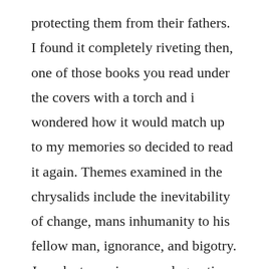protecting them from their fathers. I found it completely riveting then, one of those books you read under the covers with a torch and i wondered how it would match up to my memories so decided to read it again. Themes examined in the chrysalids include the inevitability of change, mans inhumanity to his fellow man, ignorance, and bigotry. Joseph strorm is a very dogmatic and detached man in the way he acts towards his son, david, and others in the town of waknuk. Since then, ive read it many, many times and enjoyed it as much each time. He confides in his older